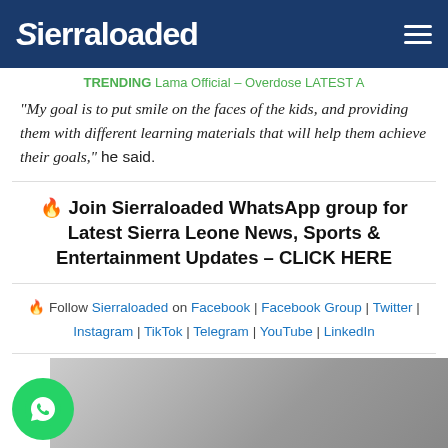Sierraloaded
TRENDING Lama Official – Overdose LATEST A
“My goal is to put smile on the faces of the kids, and providing them with different learning materials that will help them achieve their goals,” he said.
🔥 Join Sierraloaded WhatsApp group for Latest Sierra Leone News, Sports & Entertainment Updates - CLICK HERE
🔥 Follow Sierraloaded on Facebook | Facebook Group | Twitter | Instagram | TikTok | Telegram | YouTube | LinkedIn
[Figure (photo): WhatsApp bubble icon and photo of people at bottom of the page]